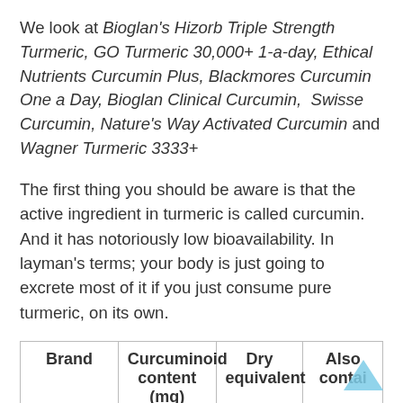We look at Bioglan's Hizorb Triple Strength Turmeric, GO Turmeric 30,000+ 1-a-day, Ethical Nutrients Curcumin Plus, Blackmores Curcumin One a Day, Bioglan Clinical Curcumin, Swisse Curcumin, Nature's Way Activated Curcumin and Wagner Turmeric 3333+
The first thing you should be aware is that the active ingredient in turmeric is called curcumin. And it has notoriously low bioavailability. In layman's terms; your body is just going to excrete most of it if you just consume pure turmeric, on its own.
| Brand | Curcuminoid content (mg) | Dry equivalent | Also contai |
| --- | --- | --- | --- |
| GO | 814mg | 30g | Piperin |